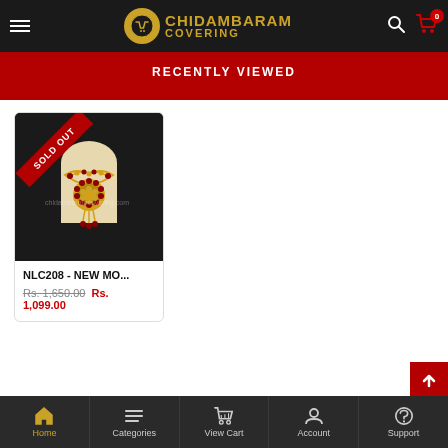CHIDAMBARAM COVERING
RECENTLY VIEWED
[Figure (photo): Gold necklace with red gemstone pendant on a mannequin, with a 'SOLD OUT' ribbon in top-left corner]
NLC208 - NEW MO...
Rs. 1,650.00 Rs. 1,099.00
Home | Categories | View Cart | Account | Support